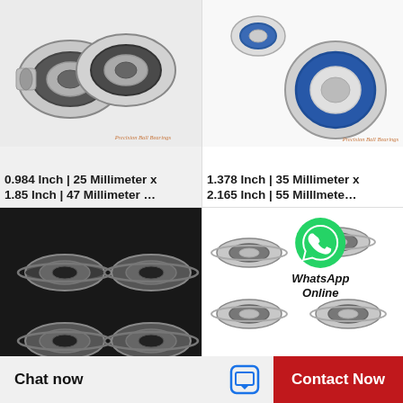[Figure (photo): Two silver/black ball bearings shown side by side, with watermark 'Precision Ball Bearings' in orange italic]
0.984 Inch | 25 Millimeter x 1.85 Inch | 47 Millimeter …
[Figure (photo): Two ball bearings, one with blue rubber seal and one silver, with watermark 'Precision Ball Bearings' in orange italic]
1.378 Inch | 35 Millimeter x 2.165 Inch | 55 Millimete…
[Figure (photo): WhatsApp Online popup icon overlay with green WhatsApp logo and bold italic text 'WhatsApp Online']
[Figure (photo): Six small flanged ball bearings arranged in a grid pattern on dark background]
[Figure (photo): Six small flanged ball bearings arranged on white background]
Chat now   Contact Now